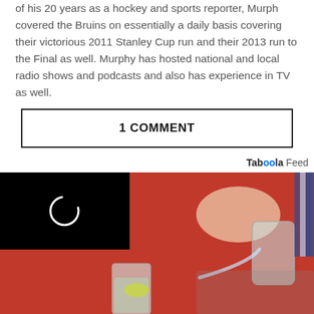of his 20 years as a hockey and sports reporter, Murph covered the Bruins on essentially a daily basis covering their victorious 2011 Stanley Cup run and their 2013 run to the Final as well. Murphy has hosted national and local radio shows and podcasts and also has experience in TV as well.
1 COMMENT
[Figure (screenshot): Taboola Feed advertisement area with a close button (×), Taboola Feed logo, and a photo showing a person in red pouring a drink into a glass, with a black video player overlay in the top-left corner showing a loading ring.]